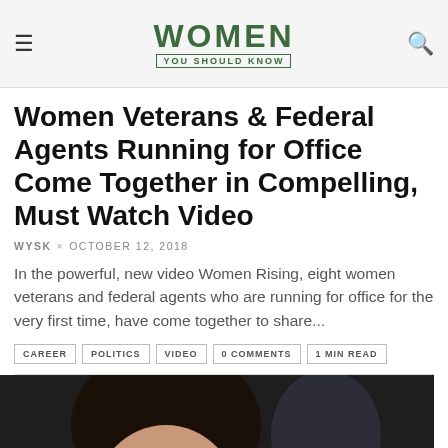WOMEN YOU SHOULD KNOW
Women Veterans & Federal Agents Running for Office Come Together in Compelling, Must Watch Video
WYSK × OCTOBER 12, 2018
In the powerful, new video Women Rising, eight women veterans and federal agents who are running for office for the very first time, have come together to share...
CAREER   POLITICS   VIDEO   0 COMMENTS   1 MIN READ
[Figure (photo): Close-up photo of a woman with dark hair looking forward, with other figures in the background in a dark setting. A video play button is visible at the bottom center.]